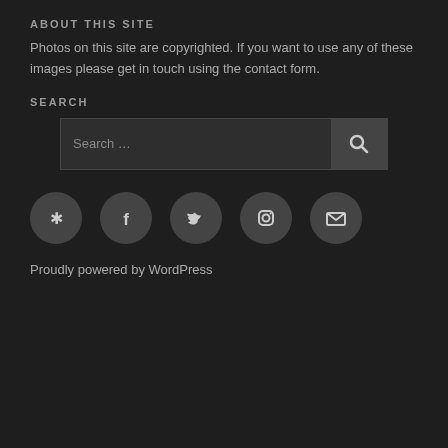ABOUT THIS SITE
Photos on this site are copyrighted. If you want to use any of these images please get in touch using the contact form.
SEARCH
[Figure (other): Search input box with search button icon]
[Figure (other): Row of social media icon circles: Yelp, Facebook, Twitter, Instagram, Email]
Proudly powered by WordPress